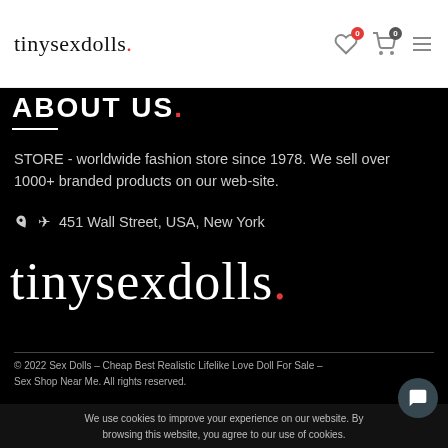tinysexdolls.
ABOUT US (partially visible)
STORE - worldwide fashion store since 1978. We sell over 1000+ branded products on our web-site.
451 Wall Street, USA, New York
[Figure (logo): tinysexdolls. logo in cursive script with red dot]
© 2022 Sex Dolls – Cheap Best Realistic Lifelike Love Doll For Sale – Sex Shop Near Me. All rights reserved.
We use cookies to improve your experience on our website. By browsing this website, you agree to our use of cookies.